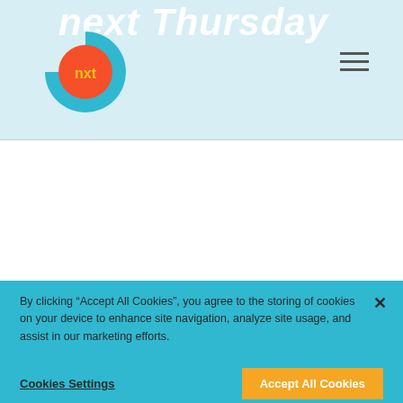[Figure (logo): Next Thursday website header with logo: a teal/cyan partial circle with an orange circle containing 'nxt' in yellow text, alongside bold italic white title text partially visible]
< Previous   Next >
By clicking “Accept All Cookies”, you agree to the storing of cookies on your device to enhance site navigation, analyze site usage, and assist in our marketing efforts.
Cookies Settings
Accept All Cookies